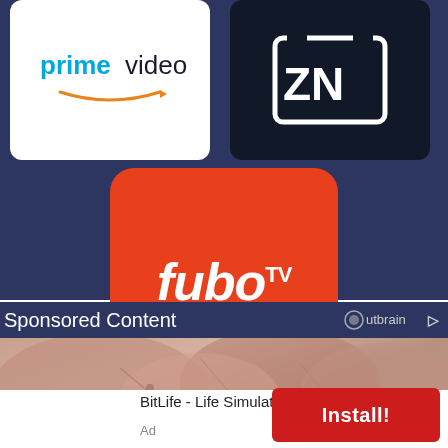[Figure (logo): Amazon Prime Video logo on white rounded rectangle background]
[Figure (logo): ZN logo in white letters on dark/black rounded rectangle background]
[Figure (logo): fuboTV logo in white italic text on orange rounded square background]
Sponsored Content
[Figure (logo): Outbrain logo with circular icon and arrow]
[Figure (photo): Close-up photo of a joint or knee anatomy, pinkish-brown tissue]
BitLife - Life Simulator
[Figure (other): Install! button in red]
Ad